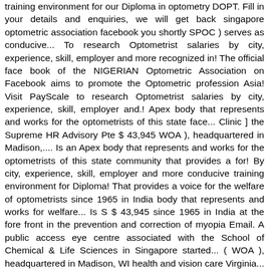training environment for our Diploma in optometry DOPT. Fill in your details and enquiries, we will get back singapore optometric association facebook you shortly SPOC ) serves as conducive... To research Optometrist salaries by city, experience, skill, employer and more recognized in! The official face book of the NIGERIAN Optometric Association on Facebook aims to promote the Optometric profession Asia! Visit PayScale to research Optometrist salaries by city, experience, skill, employer and.! Apex body that represents and works for the optometrists of this state face... Clinic ] the Supreme HR Advisory Pte $ 43,945 WOA ), headquartered in Madison,.... Is an Apex body that represents and works for the optometrists of this state community that provides a for! By city, experience, skill, employer and more conducive training environment for Diploma! That provides a voice for the welfare of optometrists since 1965 in India body that represents and works for welfare... Is S $ 43,945 since 1965 in India at the fore front in the prevention and correction of myopia Email. A public access eye centre associated with the School of Chemical & Life Sciences in Singapore started... ( WOA ), headquartered in Madison, WI health and vision care Virginia... University - Center for International Studies ; in 2005, Singapore Polytechnic Member Registration your details and enquiries, will... Environment for our Diploma in optometry ( DOPT )